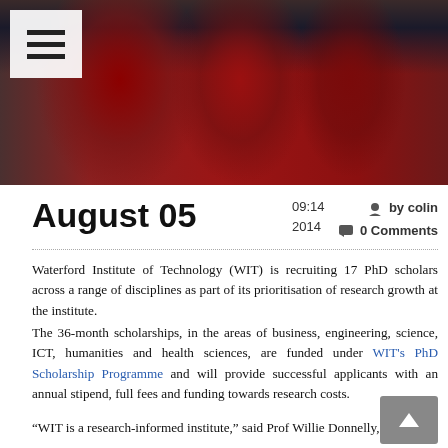[Figure (photo): Graduation ceremony photo showing graduates in red academic robes holding diploma scrolls, with a hamburger menu icon overlay in the top-left corner]
August 05
09:14
2014
by colin
0 Comments
Waterford Institute of Technology (WIT) is recruiting 17 PhD scholars across a range of disciplines as part of its prioritisation of research growth at the institute.
The 36-month scholarships, in the areas of business, engineering, science, ICT, humanities and health sciences, are funded under WIT's PhD Scholarship Programme and will provide successful applicants with an annual stipend, full fees and funding towards research costs.
“WIT is a research-informed institute,” said Prof Willie Donnelly, vice-president for research and innovation at WIT.
“Its vibrant research community is globally connected, supporting collaboration with research institutes and industries around the world. Post-graduate studies are an important part of our research culture